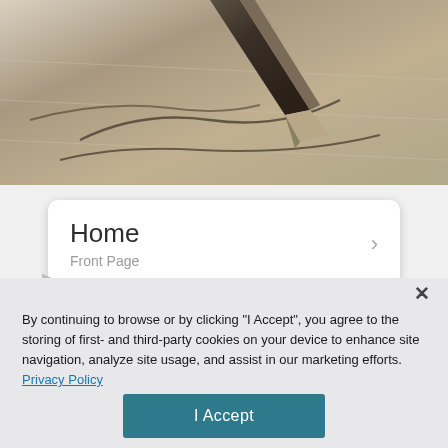[Figure (screenshot): Close-up photograph of a fountain pen writing on ruled paper, showing handwritten cursive text in black ink, dark background with paper texture visible]
Home
Front Page
By continuing to browse or by clicking "I Accept", you agree to the storing of first- and third-party cookies on your device to enhance site navigation, analyze site usage, and assist in our marketing efforts. Privacy Policy
I Accept